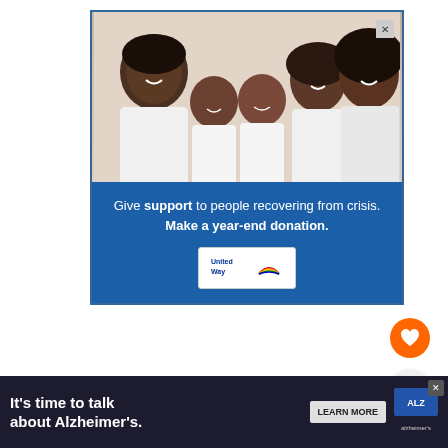[Figure (photo): Advertisement banner showing a Black family of five (father, mother, and three children) smiling together, wearing white shirts, with blue section below containing United Way donation text]
Give support to people recovering from crisis. Make a year-end donation.
[Figure (logo): United Way logo in white box]
For fans of crime fiction Denmark (and Scandinavia in general) are the home of N... fiction a... es
[Figure (photo): Bottom banner ad: It's time to talk about Alzheimer's. LEARN MORE. Alzheimer's Association logo.]